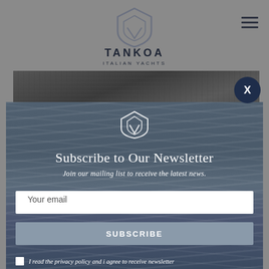[Figure (logo): Tankoa Italian Yachts logo - shield icon above text TANKOA / ITALIAN YACHTS in dark navy, centered in gray header]
[Figure (screenshot): Hamburger menu icon (three horizontal lines) in top right corner]
[Figure (photo): Aerial photo of yacht under construction, showing metal framework and industrial components in dark tones]
[Figure (logo): White Tankoa shield logo centered at top of modal overlay]
Subscribe to Our Newsletter
Join our mailing list to receive the latest news.
Your email
SUBSCRIBE
I read the privacy policy and i agree to receive newsletter